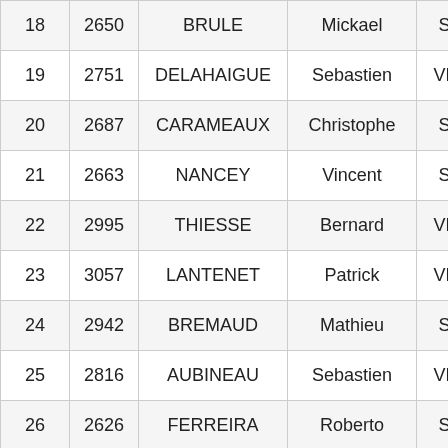| 18 | 2650 | BRULE | Mickael | SH | 11 |
| 19 | 2751 | DELAHAIGUE | Sebastien | VH1 | 4 |
| 20 | 2687 | CARAMEAUX | Christophe | SH | 12 |
| 21 | 2663 | NANCEY | Vincent | SH | 13 |
| 22 | 2995 | THIESSE | Bernard | VH3 | 1 |
| 23 | 3057 | LANTENET | Patrick | VH2 | 4 |
| 24 | 2942 | BREMAUD | Mathieu | SH | 14 |
| 25 | 2816 | AUBINEAU | Sebastien | VH1 | 5 |
| 26 | 2626 | FERREIRA | Roberto | SH | 15 |